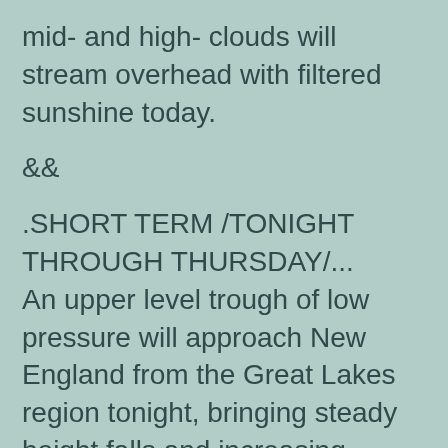mid- and high- clouds will stream overhead with filtered sunshine today.
&&
.SHORT TERM /TONIGHT THROUGH THURSDAY/...
An upper level trough of low pressure will approach New England from the Great Lakes region tonight, bringing steady height falls and increasing southwest flow… and by extension,